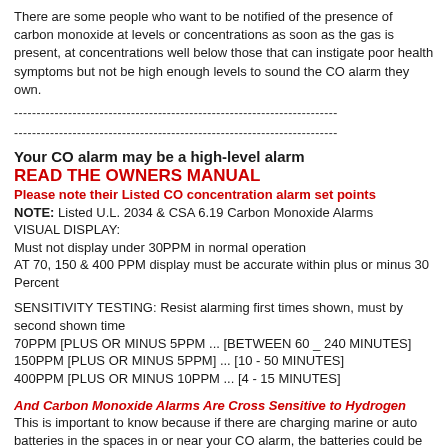There are some people who want to be notified of the presence of carbon monoxide at levels or concentrations as soon as the gas is present, at concentrations well below those that can instigate poor health symptoms but not be high enough levels to sound the CO alarm they own.
------------------------------------------------------------------------
------------------------------------------------------------------------
Your CO alarm may be a high-level alarm
READ THE OWNERS MANUAL
Please note their Listed CO concentration alarm set points
NOTE: Listed U.L. 2034 & CSA 6.19 Carbon Monoxide Alarms
VISUAL DISPLAY:
Must not display under 30PPM in normal operation
AT 70, 150 & 400 PPM display must be accurate within plus or minus 30 Percent
SENSITIVITY TESTING: Resist alarming first times shown, must by second shown time
70PPM [PLUS OR MINUS 5PPM ... [BETWEEN 60 _ 240 MINUTES]
150PPM [PLUS OR MINUS 5PPM] ... [10 - 50 MINUTES]
400PPM [PLUS OR MINUS 10PPM ... [4 - 15 MINUTES]
And Carbon Monoxide Alarms Are Cross Sensitive to Hydrogen
This is important to know because if there are charging marine or auto batteries in the spaces in or near your CO alarm, the batteries could be out-gassing hydrogen gas and your alarm may sound. Be aware of this